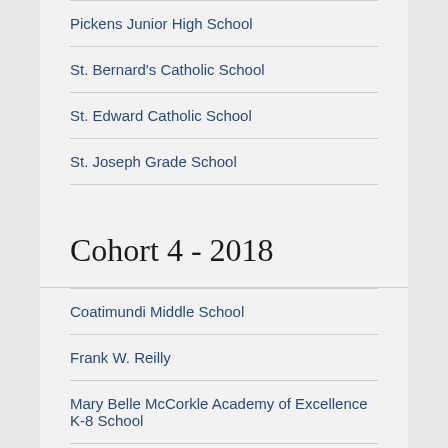Pickens Junior High School
St. Bernard's Catholic School
St. Edward Catholic School
St. Joseph Grade School
Cohort 4 - 2018
Coatimundi Middle School
Frank W. Reilly
Mary Belle McCorkle Academy of Excellence K-8 School
Sacred Hearts Academy